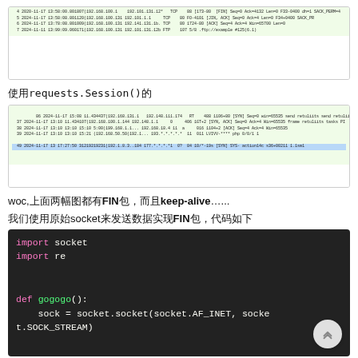[Figure (screenshot): Wireshark/network capture screenshot showing TCP packets with green rows, columns for no., time, source, destination, protocol, length, info. Rows 4-7 visible with 192.168.100.1xx addresses, TCP/FTP protocols.]
使用requests.Session()的
[Figure (screenshot): Second network capture screenshot showing similar TCP packet data with green rows, last row highlighted in blue.]
woc,上面两幅图都有FIN包，而且keep-alive…...
我们使用原始socket来发送数据实现FIN包，代码如下
import socket
import re

def gogogo():
    sock = socket.socket(socket.AF_INET, socket.SOCK_STREAM)